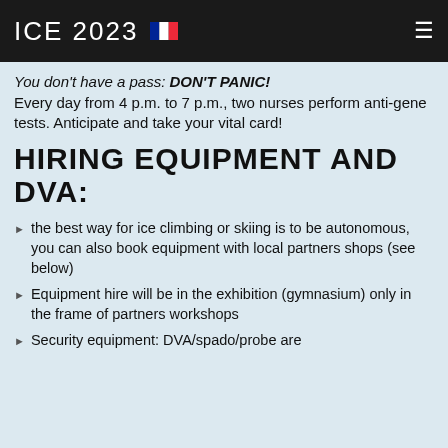ICE 2023
You don't have a pass: DON'T PANIC! Every day from 4 p.m. to 7 p.m., two nurses perform anti-gene tests. Anticipate and take your vital card!
HIRING EQUIPMENT AND DVA:
the best way for ice climbing or skiing is to be autonomous, you can also book equipment with local partners shops (see below)
Equipment hire will be in the exhibition (gymnasium) only in the frame of partners workshops
Security equipment: DVA/spado/probe are